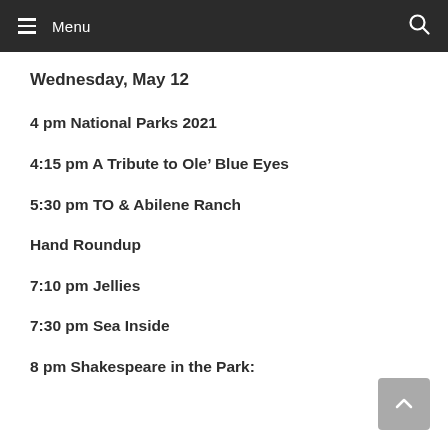Menu
Wednesday, May 12
4 pm National Parks 2021
4:15 pm A Tribute to Ole’ Blue Eyes
5:30 pm TO & Abilene Ranch
Hand Roundup
7:10 pm Jellies
7:30 pm Sea Inside
8 pm Shakespeare in the Park: